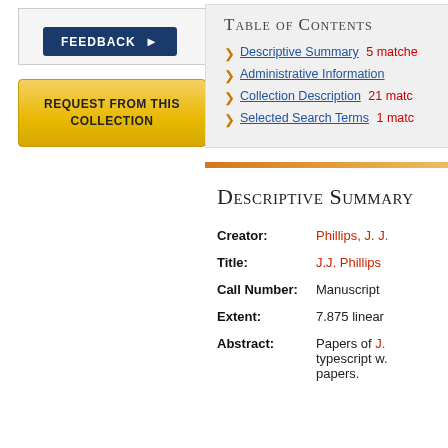[Figure (other): FEEDBACK button in dark navy blue with right-pointing arrow]
[Figure (other): REQUEST FROM THIS COLLECTION button in gold/yellow]
Table of Contents
Descriptive Summary 5 matches
Administrative Information
Collection Description 21 matches
Selected Search Terms 1 match
Descriptive Summary
Creator: Phillips, J. J.
Title: J.J. Phillips
Call Number: Manuscript
Extent: 7.875 linear
Abstract: Papers of J. typescript w. papers.